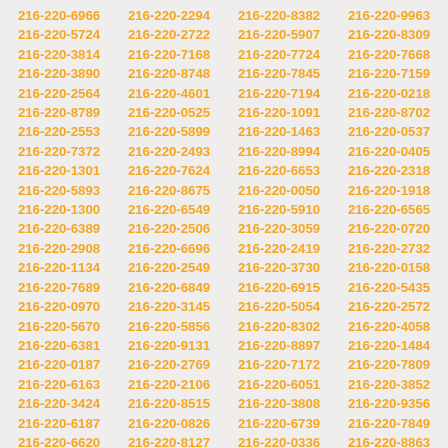216-220-6966, 216-220-2294, 216-220-8382, 216-220-9963, 216-220-5724, 216-220-2722, 216-220-5907, 216-220-8309, 216-220-3814, 216-220-7168, 216-220-7724, 216-220-7668, 216-220-3890, 216-220-8748, 216-220-7845, 216-220-7159, 216-220-2564, 216-220-4601, 216-220-7194, 216-220-0218, 216-220-8789, 216-220-0525, 216-220-1091, 216-220-8702, 216-220-2553, 216-220-5899, 216-220-1463, 216-220-0537, 216-220-7372, 216-220-2493, 216-220-8994, 216-220-0405, 216-220-1301, 216-220-7624, 216-220-6653, 216-220-2318, 216-220-5893, 216-220-8675, 216-220-0050, 216-220-1918, 216-220-1300, 216-220-6549, 216-220-5910, 216-220-6565, 216-220-6389, 216-220-2506, 216-220-3059, 216-220-0720, 216-220-2908, 216-220-6696, 216-220-2419, 216-220-2732, 216-220-1134, 216-220-2549, 216-220-3730, 216-220-0158, 216-220-7689, 216-220-6849, 216-220-6915, 216-220-5435, 216-220-0970, 216-220-3145, 216-220-5054, 216-220-2572, 216-220-5670, 216-220-5856, 216-220-8302, 216-220-4058, 216-220-6381, 216-220-9131, 216-220-8897, 216-220-1484, 216-220-0187, 216-220-2769, 216-220-7172, 216-220-7809, 216-220-6163, 216-220-2106, 216-220-6051, 216-220-3852, 216-220-3424, 216-220-8515, 216-220-3808, 216-220-9356, 216-220-6187, 216-220-0826, 216-220-6739, 216-220-7849, 216-220-6620, 216-220-8127, 216-220-0336, 216-220-8863, 216-220-4846, 216-220-9546, 216-220-0697, 216-220-2710, 216-220-4147, 216-220-1665, 216-220-9421, 216-220-8739, 216-220-4820, 216-220-0667, 216-220-8339, 216-220-7347, 216-220-1522, 216-220-1808, 216-220-5485, 216-220-7388, 216-220-0019, 216-220-8193, 216-220-4926, 216-220-6453, 216-220-5738, 216-220-9895, 216-220-0715, 216-220-9858, 216-220-1212, 216-220-7535, 216-220-5049, 216-220-4771